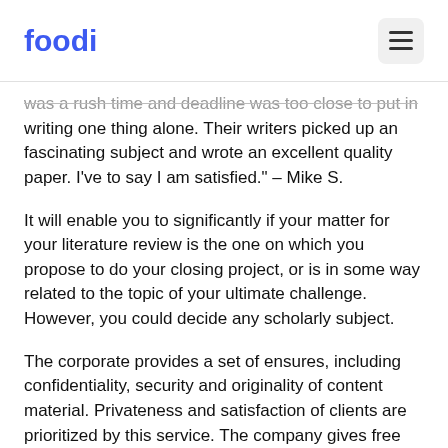foodi
was a rush time and deadline was too close to put in writing one thing alone. Their writers picked up an fascinating subject and wrote an excellent quality paper. I've to say I am satisfied." – Mike S.
It will enable you to significantly if your matter for your literature review is the one on which you propose to do your closing project, or is in some way related to the topic of your ultimate challenge. However, you could decide any scholarly subject.
The corporate provides a set of ensures, including confidentiality, security and originality of content material. Privateness and satisfaction of clients are prioritized by this service. The company gives free limitless